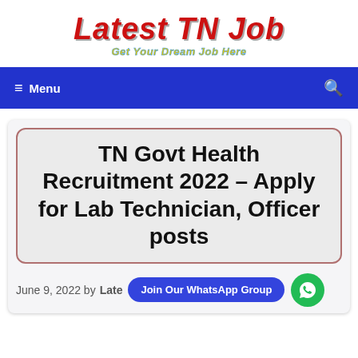Latest TN Job — Get Your Dream Job Here
TN Govt Health Recruitment 2022 – Apply for Lab Technician, Officer posts
June 9, 2022 by Latest TN Job
[Figure (other): Join Our WhatsApp Group button and WhatsApp icon circle]